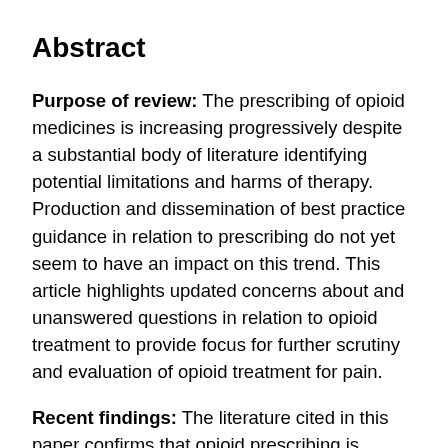Abstract
Purpose of review: The prescribing of opioid medicines is increasing progressively despite a substantial body of literature identifying potential limitations and harms of therapy. Production and dissemination of best practice guidance in relation to prescribing do not yet seem to have an impact on this trend. This article highlights updated concerns about and unanswered questions in relation to opioid treatment to provide focus for further scrutiny and evaluation of opioid treatment for pain.
Recent findings: The literature cited in this paper confirms that opioid prescribing is prevalent despite an established evidence base spanning a decade that indicates that efficacy of opioids in long-term pain management remains uncertain and that harms of therapy are well defined. In particular, problems with treatment are more likely to occur when high doses are